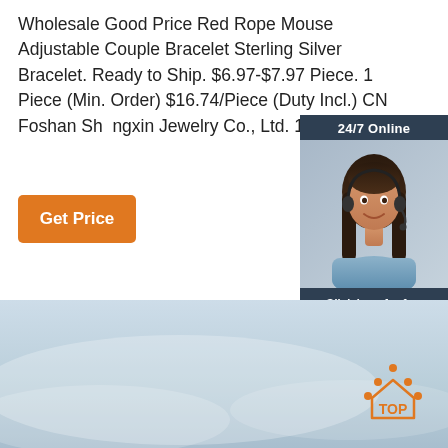Wholesale Good Price Red Rope Mouse Adjustable Couple Bracelet Sterling Silver Bracelet. Ready to Ship. $6.97-$7.97 Piece. 1 Piece (Min. Order) $16.74/Piece (Duty Incl.) CN Foshan Shangxin Jewelry Co., Ltd. 1 YRS.
[Figure (other): Orange 'Get Price' button]
[Figure (infographic): Dark blue sidebar with '24/7 Online' header, customer service agent photo wearing headset, 'Click here for free chat!' text in italic, and orange 'QUOTATION' button]
[Figure (photo): Light blue/grey misty background photo at the bottom of the page, with an orange 'TOP' icon with upward arrow dots in the bottom right]